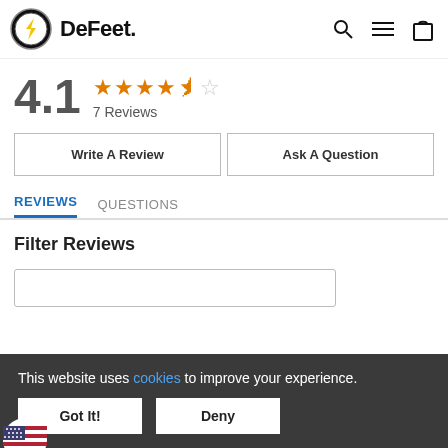DeFeet
4.1 ★★★★½ 7 Reviews
Write A Review
Ask A Question
REVIEWS  QUESTIONS
Filter Reviews
This website uses cookies to improve your experience.
Got It!
Deny